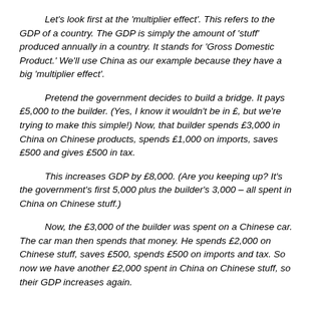Let's look first at the 'multiplier effect'. This refers to the GDP of a country. The GDP is simply the amount of 'stuff' produced annually in a country. It stands for 'Gross Domestic Product.' We'll use China as our example because they have a big 'multiplier effect'.
Pretend the government decides to build a bridge. It pays £5,000 to the builder. (Yes, I know it wouldn't be in £, but we're trying to make this simple!) Now, that builder spends £3,000 in China on Chinese products, spends £1,000 on imports, saves £500 and gives £500 in tax.
This increases GDP by £8,000. (Are you keeping up? It's the government's first 5,000 plus the builder's 3,000 – all spent in China on Chinese stuff.)
Now, the £3,000 of the builder was spent on a Chinese car. The car man then spends that money. He spends £2,000 on Chinese stuff, saves £500, spends £500 on imports and tax. So now we have another £2,000 spent in China on Chinese stuff, so their GDP increases again.